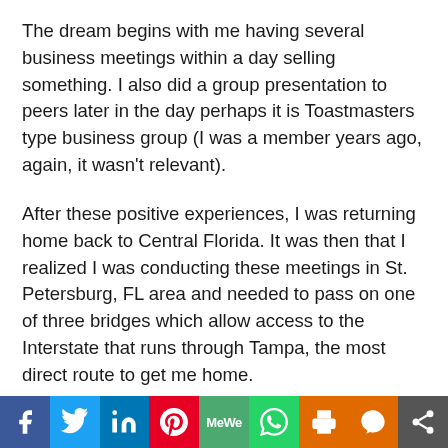The dream begins with me having several business meetings within a day selling something. I also did a group presentation to peers later in the day perhaps it is Toastmasters type business group (I was a member years ago, again, it wasn't relevant).
After these positive experiences, I was returning home back to Central Florida. It was then that I realized I was conducting these meetings in St. Petersburg, FL area and needed to pass on one of three bridges which allow access to the Interstate that runs through Tampa, the most direct route to get me home.
What had been a pleasant day, suddenly became chaos
[Figure (infographic): Social media sharing bar with icons: Facebook (blue), Twitter (light blue), LinkedIn (dark blue), Pinterest (red), MeWe (green), WhatsApp (green), Print (orange), Parler (orange), Share (dark gray)]